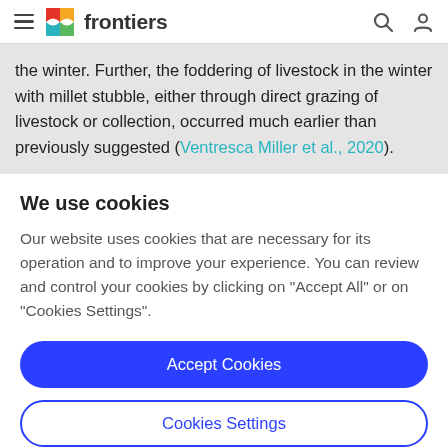frontiers
the winter. Further, the foddering of livestock in the winter with millet stubble, either through direct grazing of livestock or collection, occurred much earlier than previously suggested (Ventresca Miller et al., 2020).
We use cookies
Our website uses cookies that are necessary for its operation and to improve your experience. You can review and control your cookies by clicking on "Accept All" or on "Cookies Settings".
Accept Cookies
Cookies Settings